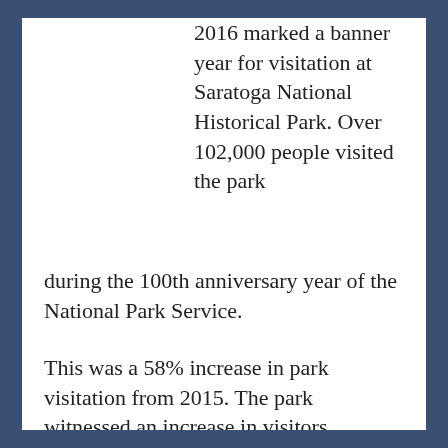2016 marked a banner year for visitation at Saratoga National Historical Park. Over 102,000 people visited the park during the 100th anniversary year of the National Park Service.
This was a 58% increase in park visitation from 2015. The park witnessed an increase in visitors attending ranger programs, special events, hiking and cycling, and touring the park's historic sites, according to the Park Service. [Read more…]